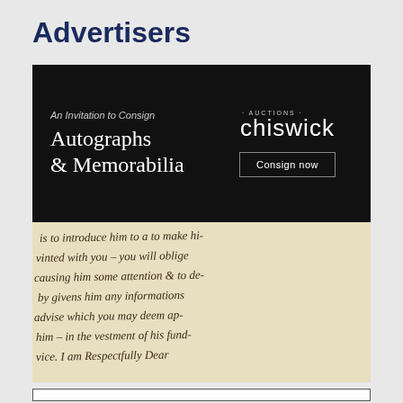Advertisers
[Figure (illustration): Chiswick Auctions advertisement on black background. Left side: 'An Invitation to Consign' in italic, then 'Autographs & Memorabilia' in large white serif font. Right side: Chiswick Auctions logo in white, and a 'Consign now' button with border.]
[Figure (photo): Close-up photograph of a handwritten letter in cursive script on aged paper. Text is partially visible: 'is to introduce him to a to make him acquainted with you - you will oblige a... causing him some attention & to dome... by giving him any information... advise which you may deem ap[propriate]... him - in the vestment of his fund[s]... [ad]vice... I am Respectfully Dea[r]...']
[Figure (other): White box with border at bottom of page, partially visible.]